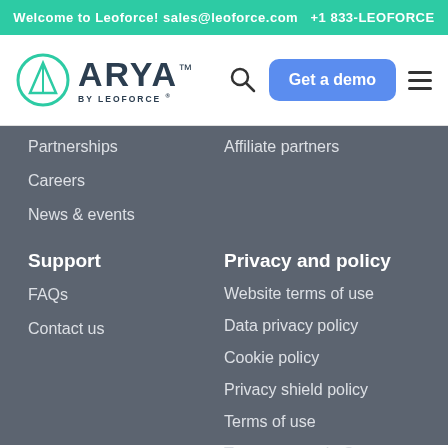Welcome to Leoforce! sales@leoforce.com  +1 833-LEOFORCE
[Figure (logo): ARYA by Leoforce logo with circular emblem]
Partnerships
Affiliate partners
Careers
News & events
Support
Privacy and policy
FAQs
Website terms of use
Contact us
Data privacy policy
Cookie policy
Privacy shield policy
Terms of use
Transparency in Coverage